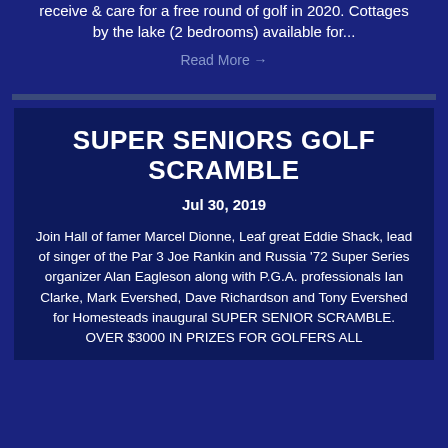receive & care for a free round of golf in 2020. Cottages by the lake (2 bedrooms) available for...
Read More →
SUPER SENIORS GOLF SCRAMBLE
Jul 30, 2019
Join Hall of famer Marcel Dionne, Leaf great Eddie Shack, lead of singer of the Par 3 Joe Rankin and Russia '72 Super Series organizer Alan Eagleson along with P.G.A. professionals Ian Clarke, Mark Evershed, Dave Richardson and Tony Evershed for Homesteads inaugural SUPER SENIOR SCRAMBLE. OVER $3000 IN PRIZES FOR GOLFERS ALL